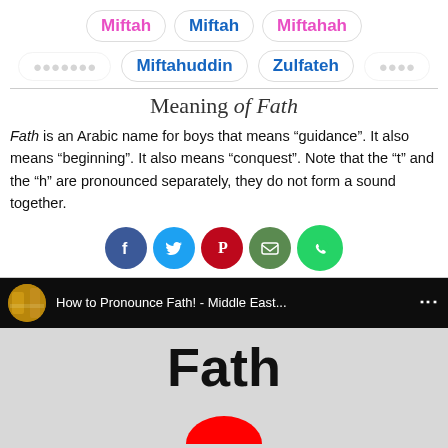Miftah  Miftah  Miftahah
Miftahuddin  Zulfateh
Meaning of Fath
Fath is an Arabic name for boys that means "guidance". It also means "beginning". It also means "conquest". Note that the "t" and the "h" are pronounced separately, they do not form a sound together.
[Figure (infographic): Social share buttons: Facebook, Twitter, Pinterest, Email, WhatsApp]
[Figure (screenshot): YouTube video thumbnail showing 'How to Pronounce Fath! - Middle East...' with large text 'Fath' and red YouTube play button]